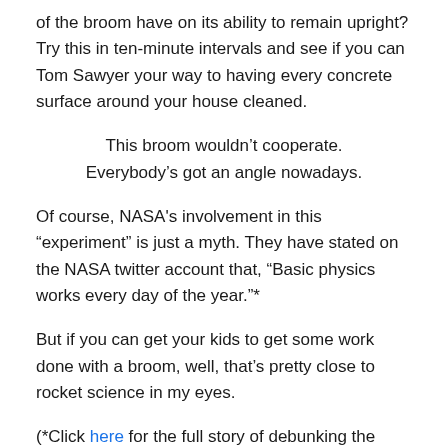of the broom have on its ability to remain upright? Try this in ten-minute intervals and see if you can Tom Sawyer your way to having every concrete surface around your house cleaned.
This broom wouldn't cooperate.
Everybody's got an angle nowadays.
Of course, NASA's involvement in this “experiment” is just a myth. They have stated on the NASA twitter account that, “Basic physics works every day of the year.”*
But if you can get your kids to get some work done with a broom, well, that’s pretty close to rocket science in my eyes.
(*Click here for the full story of debunking the broom hoax